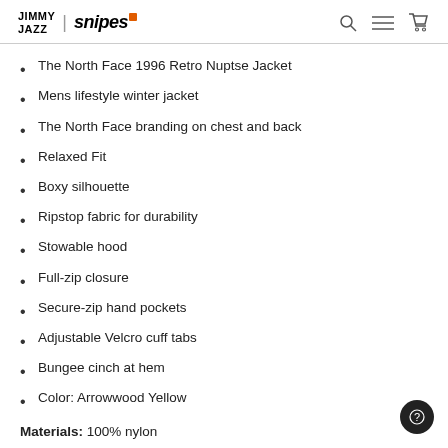JIMMY JAZZ | snipes
The North Face 1996 Retro Nuptse Jacket
Mens lifestyle winter jacket
The North Face branding on chest and back
Relaxed Fit
Boxy silhouette
Ripstop fabric for durability
Stowable hood
Full-zip closure
Secure-zip hand pockets
Adjustable Velcro cuff tabs
Bungee cinch at hem
Color: Arrowwood Yellow
Materials: 100% nylon